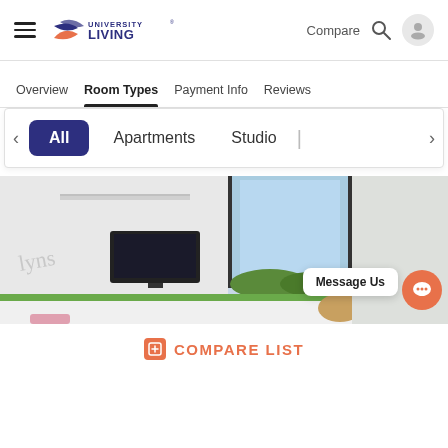University Living — Compare, Search, User
Overview   Room Types   Payment Info   Reviews
All   Apartments   Studio
[Figure (photo): Interior photo of a modern student apartment room with a TV, green accent sofa, cushions, shelves, and a large window with outdoor view]
Message Us
COMPARE LIST